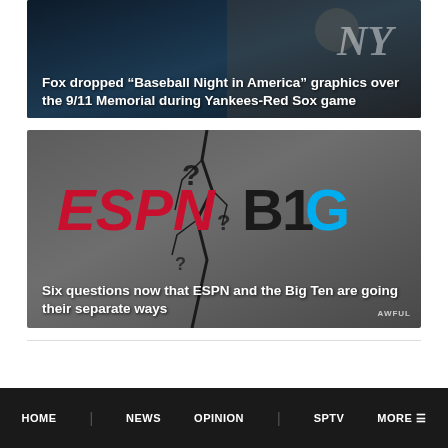[Figure (photo): Dark aerial/graphic background image with text overlay: 'Fox dropped "Baseball Night in America" graphics over the 9/11 Memorial during Yankees-Red Sox game']
Fox dropped “Baseball Night in America” graphics over the 9/11 Memorial during Yankees-Red Sox game
[Figure (photo): ESPN and Big Ten logos side by side with question marks and a crack graphic on grey background, with text overlay: 'Six questions now that ESPN and the Big Ten are going their separate ways']
Six questions now that ESPN and the Big Ten are going their separate ways
HOME NEWS OPINION SPTV MORE